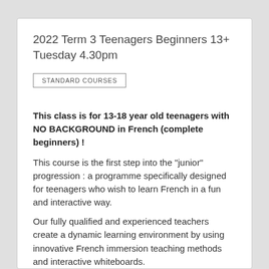2022 Term 3 Teenagers Beginners 13+ Tuesday 4.30pm
STANDARD COURSES
This class is for 13-18 year old teenagers with NO BACKGROUND in French (complete beginners) !
This course is the first step into the "junior" progression : a programme specifically designed for teenagers who wish to learn French in a fun and interactive way.
Our fully qualified and experienced teachers create a dynamic learning environment by using innovative French immersion teaching methods and interactive whiteboards.
They keep the teenagers interested and challenged while allowing them to memorise